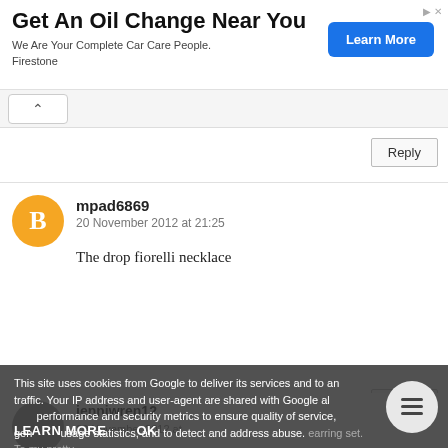[Figure (screenshot): Advertisement banner: 'Get An Oil Change Near You' with 'Learn More' button and 'We Are Your Complete Car Care People. Firestone' subtext]
[Figure (screenshot): Collapse/caret panel bar]
[Figure (screenshot): Reply button area]
mpad6869
20 November 2012 at 21:25
The drop fiorelli necklace
Reply
jenniwren12
This site uses cookies from Google to deliver its services and to analyse traffic. Your IP address and user-agent are shared with Google along with performance and security metrics to ensure quality of service, generate usage statistics, and to detect and address abuse.
LEARN MORE    OK